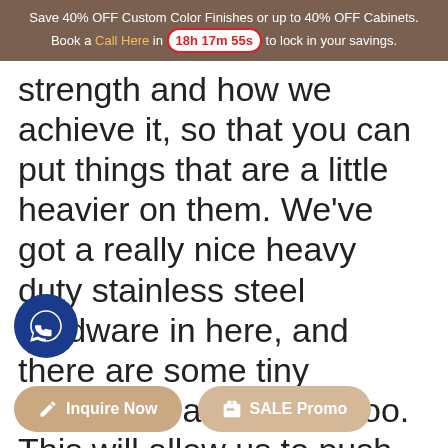Save 40% OFF Custom Color Finishes or up to 40% OFF Cabinets. Book a Call Here in 18h 17m 55s to lock in your savings.
strength and how we achieve it, so that you can put things that are a little heavier on them. We've got a really nice heavy duty stainless steel hardware in here, and there are some tiny adjustable allen keys, too. This will allow us to push and pull the bracket. Gl will be used to fill the shelves, w will be mounted on stainless st ld be nice  project is completed again.